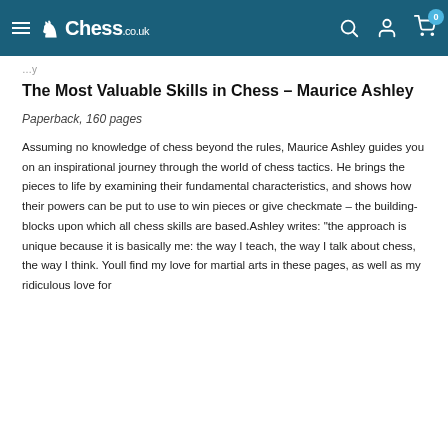Chess.co.uk
The Most Valuable Skills in Chess - Maurice Ashley
Paperback, 160 pages
Assuming no knowledge of chess beyond the rules, Maurice Ashley guides you on an inspirational journey through the world of chess tactics. He brings the pieces to life by examining their fundamental characteristics, and shows how their powers can be put to use to win pieces or give checkmate - the building-blocks upon which all chess skills are based.Ashley writes: "the approach is unique because it is basically me: the way I teach, the way I talk about chess, the way I think. Youll find my love for martial arts in these pages, as well as my ridiculous love for